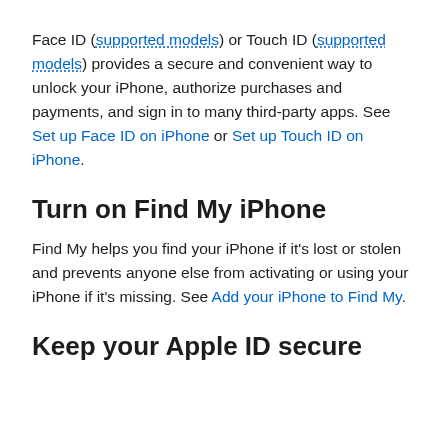Face ID (supported models) or Touch ID (supported models) provides a secure and convenient way to unlock your iPhone, authorize purchases and payments, and sign in to many third-party apps. See Set up Face ID on iPhone or Set up Touch ID on iPhone.
Turn on Find My iPhone
Find My helps you find your iPhone if it's lost or stolen and prevents anyone else from activating or using your iPhone if it's missing. See Add your iPhone to Find My.
Keep your Apple ID secure